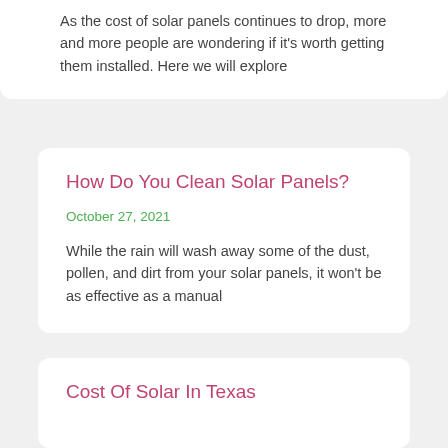As the cost of solar panels continues to drop, more and more people are wondering if it's worth getting them installed. Here we will explore
How Do You Clean Solar Panels?
October 27, 2021
While the rain will wash away some of the dust, pollen, and dirt from your solar panels, it won't be as effective as a manual
Cost Of Solar In Texas